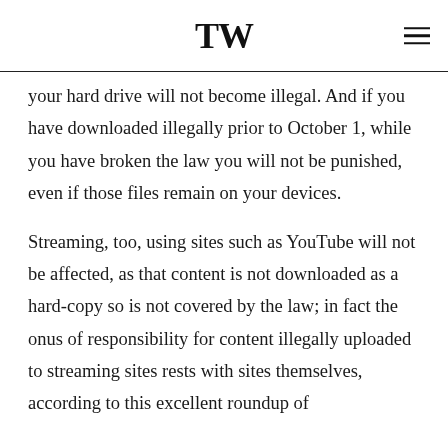TW
your hard drive will not become illegal. And if you have downloaded illegally prior to October 1, while you have broken the law you will not be punished, even if those files remain on your devices.
Streaming, too, using sites such as YouTube will not be affected, as that content is not downloaded as a hard-copy so is not covered by the law; in fact the onus of responsibility for content illegally uploaded to streaming sites rests with sites themselves, according to this excellent roundup of